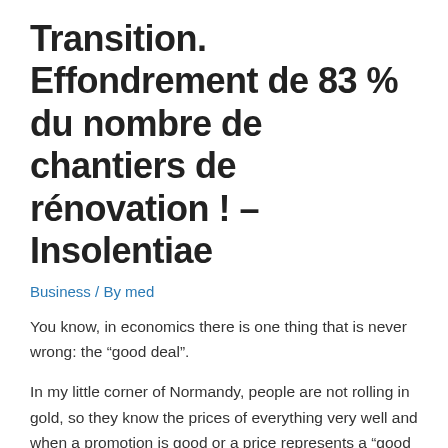Transition. Effondrement de 83 % du nombre de chantiers de rénovation ! – Insolentiae
Business / By med
You know, in economics there is one thing that is never wrong: the “good deal”.
In my little corner of Normandy, people are not rolling in gold, so they know the prices of everything very well and when a promotion is good or a price represents a “good deal”, then people rush above.
If you arrive in front of a supermarket shelf and you are wondering which reference to choose, take the one with the least product left, it is generally the best value for money, because economic agents, when it is their money it is, are much smarter than all the Enarque